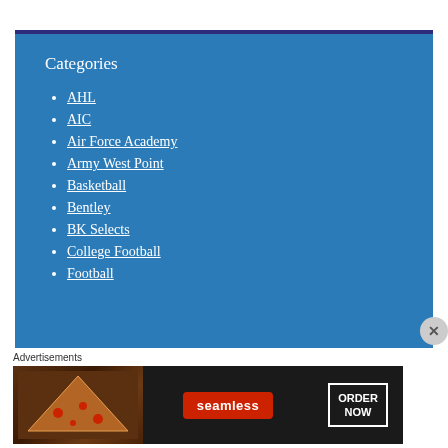Categories
AHL
AIC
Air Force Academy
Army West Point
Basketball
Bentley
BK Selects
College Football
Football
Advertisements
[Figure (screenshot): Seamless food delivery advertisement banner showing pizza with 'seamless' logo and 'ORDER NOW' button]